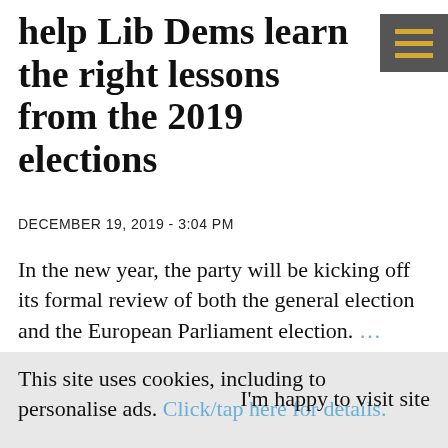help Lib Dems learn the right lessons from the 2019 elections
DECEMBER 19, 2019 - 3:04 PM
In the new year, the party will be kicking off its formal review of both the general election and the European Parliament election. … Read the
This site uses cookies, including to personalise ads. Click/tap here for details.
I'm happy to visit site